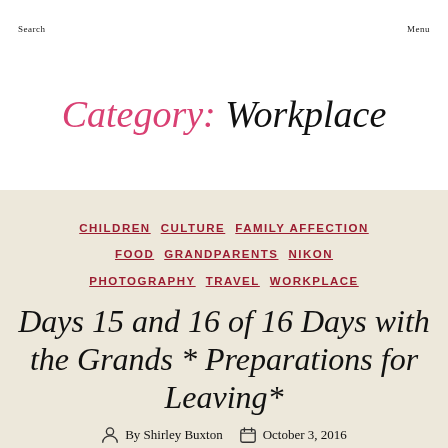Search    Menu
Category: Workplace
CHILDREN  CULTURE  FAMILY AFFECTION  FOOD  GRANDPARENTS  NIKON  PHOTOGRAPHY  TRAVEL  WORKPLACE
Days 15 and 16 of 16 Days with the Grands * Preparations for Leaving*
By Shirley Buxton   October 3, 2016